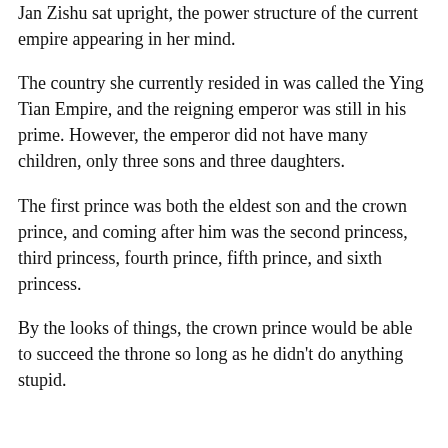Jan Zishu sat upright, the power structure of the current empire appearing in her mind.
The country she currently resided in was called the Ying Tian Empire, and the reigning emperor was still in his prime. However, the emperor did not have many children, only three sons and three daughters.
The first prince was both the eldest son and the crown prince, and coming after him was the second princess, third princess, fourth prince, fifth prince, and sixth princess.
By the looks of things, the crown prince would be able to succeed the throne so long as he didn't do anything stupid.